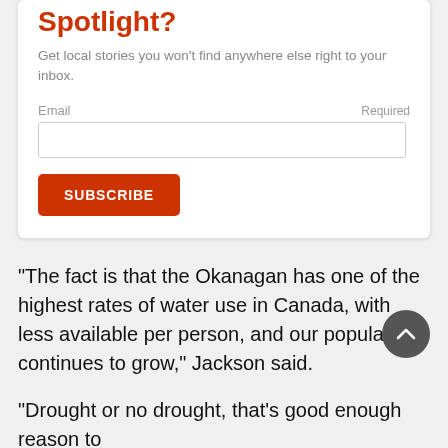Spotlight?
Get local stories you won't find anywhere else right to your inbox.
Email
Required
SUBSCRIBE
“The fact is that the Okanagan has one of the highest rates of water use in Canada, with less available per person, and our population continues to grow,” Jackson said.
“Drought or no drought, that’s good enough reason to